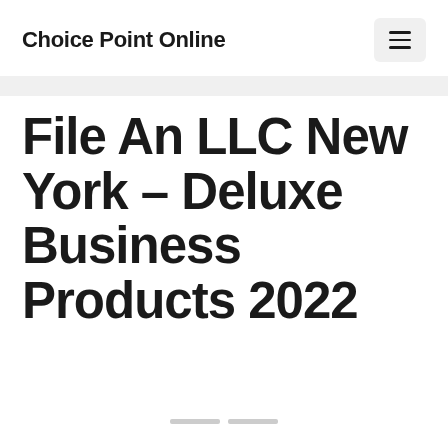Choice Point Online
File An LLC New York – Deluxe Business Products 2022